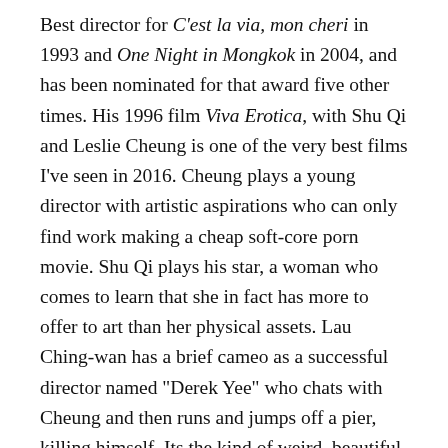Best director for C'est la via, mon cheri in 1993 and One Night in Mongkok in 2004, and has been nominated for that award five other times. His 1996 film Viva Erotica, with Shu Qi and Leslie Cheung is one of the very best films I've seen in 2016. Cheung plays a young director with artistic aspirations who can only find work making a cheap soft-core porn movie. Shu Qi plays his star, a woman who comes to learn that she in fact has more to offer to art than her physical assets. Lau Ching-wan has a brief cameo as a successful director named "Derek Yee" who chats with Cheung and then runs and jumps off a pier, killing himself. Its the kind of weird, beautiful, romantic paean to art that one rarely finds among the work of martial arts actor/directors. Yee has made a handful of action movies over the years, along